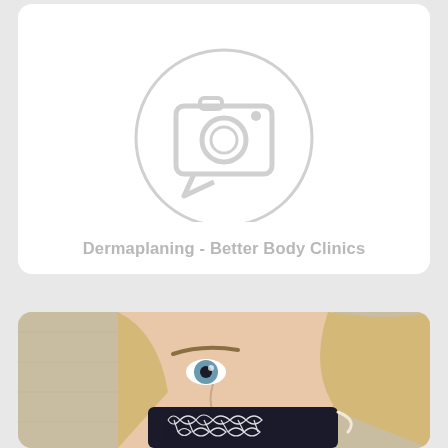[Figure (illustration): Placeholder image icon — a grey circle with a camera/photo placeholder icon in the center, representing a missing or unavailable image]
Dermaplaning - Better Body Clinics
[Figure (photo): Close-up photo of a woman with blonde hair and blue eyes wearing a black floral patterned face mask over her nose and mouth, standing in front of a textured beige wall]